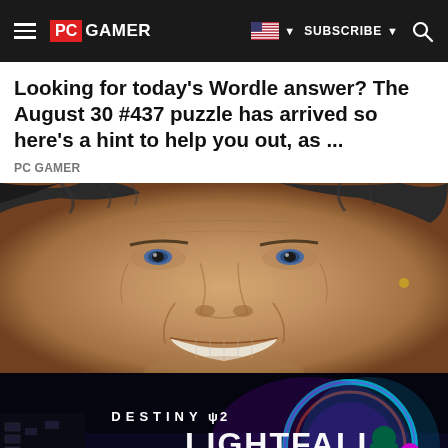PC GAMER | SUBSCRIBE | Search
Looking for today's Wordle answer? The August 30 #437 puzzle has arrived so here's a hint to help you out, as ...
PC Gamer
[Figure (photo): Close-up photo of an older man's face smiling, with tousled dark grey hair and an earring visible]
[Figure (photo): Destiny 2 Lightfall advertisement banner — dark sci-fi game art with armored characters, text reads DESTINY 2 LIGHTFALL, OUR END BEGINS, PRE-ORDER NOW. ESRB Teen rating shown. Bungie logo at bottom.]